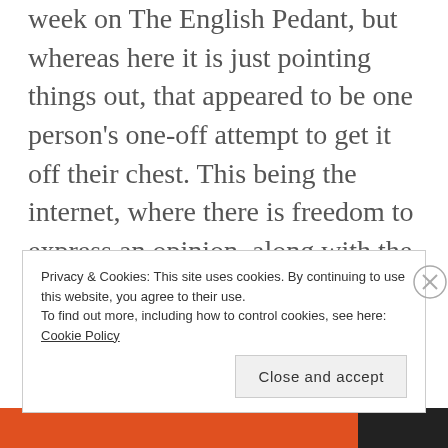week on The English Pedant, but whereas here it is just pointing things out, that appeared to be one person's one-off attempt to get it off their chest. This being the internet, where there is freedom to express an opinion, along with the messages of agreement there were two people who defended their right to write badly.
Privacy & Cookies: This site uses cookies. By continuing to use this website, you agree to their use.
To find out more, including how to control cookies, see here: Cookie Policy
Close and accept